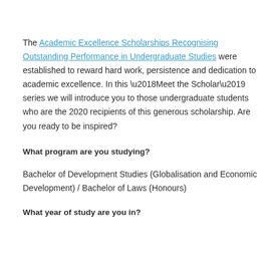The Academic Excellence Scholarships Recognising Outstanding Performance in Undergraduate Studies were established to reward hard work, persistence and dedication to academic excellence. In this ‘Meet the Scholar’ series we will introduce you to those undergraduate students who are the 2020 recipients of this generous scholarship. Are you ready to be inspired?
What program are you studying?
Bachelor of Development Studies (Globalisation and Economic Development) / Bachelor of Laws (Honours)
What year of study are you in?